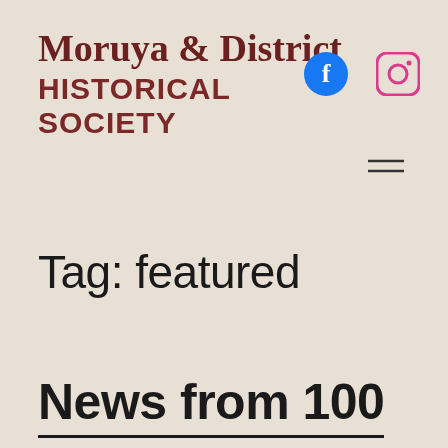Moruya & District HISTORICAL SOCIETY
[Figure (logo): Facebook circular blue logo icon]
[Figure (logo): Instagram rounded square logo icon]
[Figure (other): Hamburger menu icon with two horizontal lines]
Tag: featured
News from 100